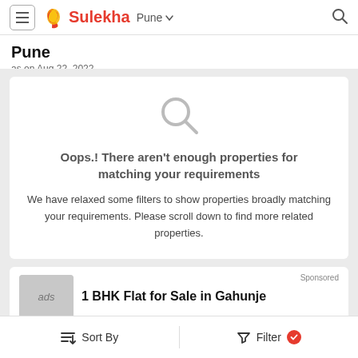Sulekha Pune
Pune
as on Aug 22, 2022
[Figure (other): Large search magnifying glass icon indicating no results found]
Oops.! There aren't enough properties for matching your requirements
We have relaxed some filters to show properties broadly matching your requirements. Please scroll down to find more related properties.
Sponsored
1 BHK Flat for Sale in Gahunje
Sort By   Filter